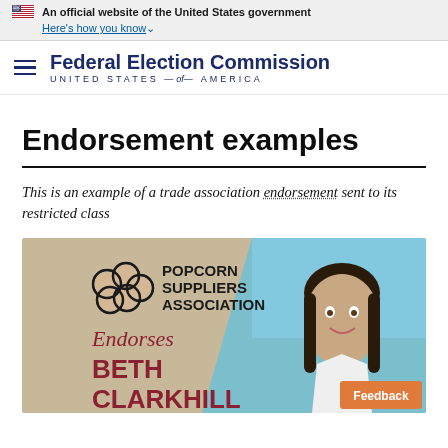An official website of the United States government
Here's how you know
Federal Election Commission UNITED STATES — of — AMERICA
Endorsement examples
This is an example of a trade association endorsement sent to its restricted class
[Figure (illustration): Popcorn Suppliers Association endorsement graphic showing logo, 'Endorses', 'BETH CLARKHILL' text on tan/beige background with a photo of a smiling woman on the right side against a blue sky background. An orange Feedback button appears at bottom right.]